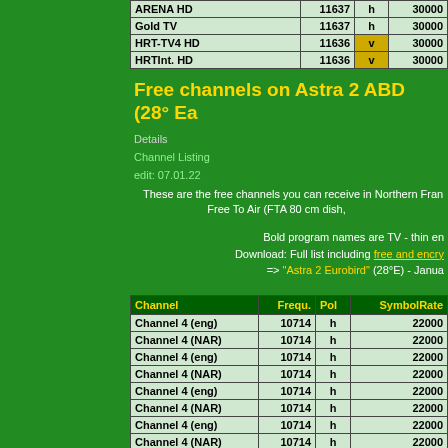| Channel | Frequ. | Pol | SymbolRate |
| --- | --- | --- | --- |
| ARENA HD | 11637 | h | 30000 |
| Gold TV | 11637 | h | 30000 |
| HRT-TV4 HD | 11636 | v | 30000 |
| HRTInt. HD | 11636 | v | 30000 |
Free channels on Astra 2 ABD (28° Ea...
Details
Channel Listing
edit: 07.01.22
These are the free channels you can receive in Northern Fran... Free To Air (FTA 80 cm dish...
Bold program names are TV - thin en... Download: Full list including free and encry... => "Astra 2 Eurobird" (28°E) - Janua...
| Channel | Frequ. | Pol | SymbolRate |
| --- | --- | --- | --- |
| Channel 4 (eng) | 10714 | h | 22000 |
| Channel 4 (NAR) | 10714 | h | 22000 |
| Channel 4 (eng) | 10714 | h | 22000 |
| Channel 4 (NAR) | 10714 | h | 22000 |
| Channel 4 (eng) | 10714 | h | 22000 |
| Channel 4 (NAR) | 10714 | h | 22000 |
| Channel 4 (eng) | 10714 | h | 22000 |
| Channel 4 (NAR) | 10714 | h | 22000 |
| Channel 4 (eng) | 10714 | h | 22000 |
| Channel 4 (NAR) | 10714 | h | 22000 |